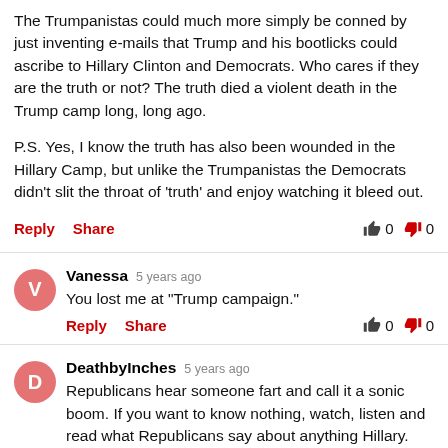The Trumpanistas could much more simply be conned by just inventing e-mails that Trump and his bootlicks could ascribe to Hillary Clinton and Democrats. Who cares if they are the truth or not? The truth died a violent death in the Trump camp long, long ago.

P.S. Yes, I know the truth has also been wounded in the Hillary Camp, but unlike the Trumpanistas the Democrats didn't slit the throat of 'truth' and enjoy watching it bleed out.
Reply   Share   👍 0   👎 0
Vanessa  5 years ago
You lost me at "Trump campaign."
Reply   Share   👍 0   👎 0
DeathbyInches  5 years ago
Republicans hear someone fart and call it a sonic boom. If you want to know nothing, watch, listen and read what Republicans say about anything Hillary. Many years ago mag and I bought a set of LBJ tapes taken from his hidden White House recorder. I'll be the next Miss